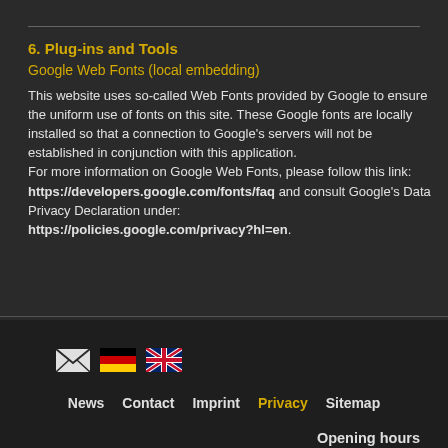6. Plug-ins and Tools
Google Web Fonts (local embedding)
This website uses so-called Web Fonts provided by Google to ensure the uniform use of fonts on this site. These Google fonts are locally installed so that a connection to Google’s servers will not be established in conjunction with this application.
For more information on Google Web Fonts, please follow this link:
https://developers.google.com/fonts/faq and consult Google’s Data Privacy Declaration under:
https://policies.google.com/privacy?hl=en.
[Figure (infographic): Footer icons: envelope/email icon, German flag, UK flag]
News  Contact  Imprint  Privacy  Sitemap
Opening hours